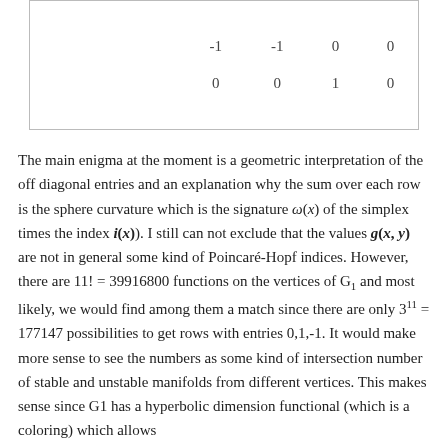| -1 | -1 | 0 | 0 |
| 0 | 0 | 1 | 0 |
The main enigma at the moment is a geometric interpretation of the off diagonal entries and an explanation why the sum over each row is the sphere curvature which is the signature ω(x) of the simplex times the index i(x)). I still can not exclude that the values g(x, y) are not in general some kind of Poincaré-Hopf indices. However, there are 11! = 39916800 functions on the vertices of G₁ and most likely, we would find among them a match since there are only 3¹¹ = 177147 possibilities to get rows with entries 0,1,-1. It would make more sense to see the numbers as some kind of intersection number of stable and unstable manifolds from different vertices. This makes sense since G1 has a hyperbolic dimension functional (which is a coloring) which allows